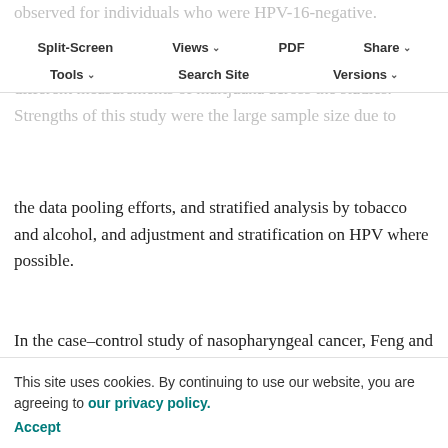observed for individuals who were HPV-16-negative.
Split-Screen | Views | PDF | Share | Tools | Search Site | Versions
Limitations of this study were potential recall bias and different measurements of marijuana across the studies. Strengths of this study were the large sample size due to the data pooling efforts, and stratified analysis by tobacco and alcohol, and adjustment and stratification on HPV where possible.
In the case–control study of nasopharyngeal cancer, Feng and colleagues (22) reported an increased risk between cannabis consumption of 2,000 times or more in a lifetime, and nasopharyngeal cancer risk in men after adjusting for age, socioeconomic status (SES), dietary factors, and
cigarette smoking frequency. However, smoking cannabis alone did not appear to confer an increased risk of nasopharyngeal cancer (OR, 0.97; 95% CI, 0.37–5.52). This study included 636 cases and 615 controls in North
This site uses cookies. By continuing to use our website, you are agreeing to our privacy policy.
Accept